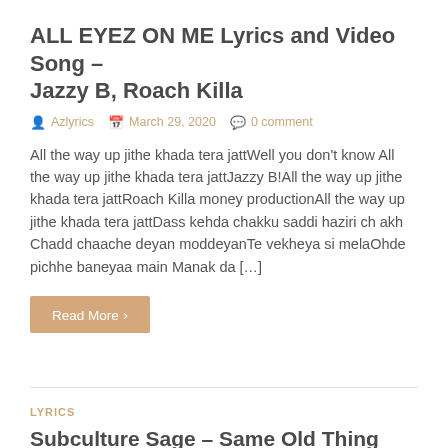ALL EYEZ ON ME Lyrics and Video Song – Jazzy B, Roach Killa
Azlyrics   March 29, 2020   0 comment
All the way up jithe khada tera jattWell you don't know All the way up jithe khada tera jattJazzy B!All the way up jithe khada tera jattRoach Killa money productionAll the way up jithe khada tera jattDass kehda chakku saddi haziri ch akh Chadd chaache deyan moddeyanTe vekheya si melaOhde pichhe baneyaa main Manak da […]
Read More
LYRICS
Subculture Sage – Same Old Thing Lyrics